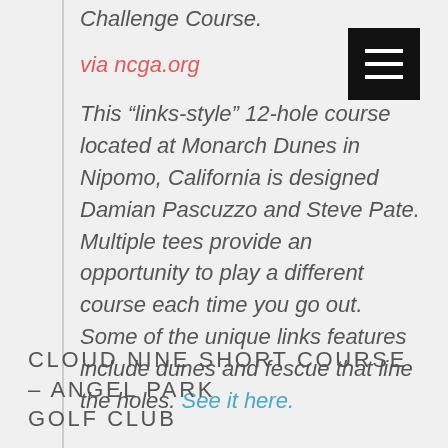Challenge Course.
via ncga.org
This “links-style” 12-hole course located at Monarch Dunes in Nipomo, California is designed Damian Pascuzzo and Steve Pate. Multiple tees provide an opportunity to play a different course each time you go out. Some of the unique links features include dunes and fescue that line the holes. See it here.
CLOUD NINE SHORT COURSE – ANGEL PARK GOLF CLUB